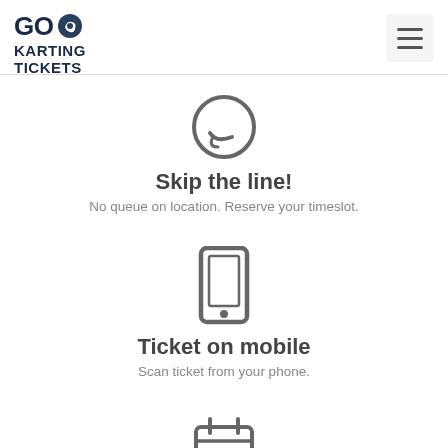[Figure (logo): Go Karting Tickets logo with eagle icon]
[Figure (illustration): Smiley face / happy face icon in grey]
Skip the line!
No queue on location. Reserve your timeslot.
[Figure (illustration): Mobile phone / smartphone icon in grey]
Ticket on mobile
Scan ticket from your phone.
[Figure (illustration): Calendar icon with grid squares in grey]
Free cancellation